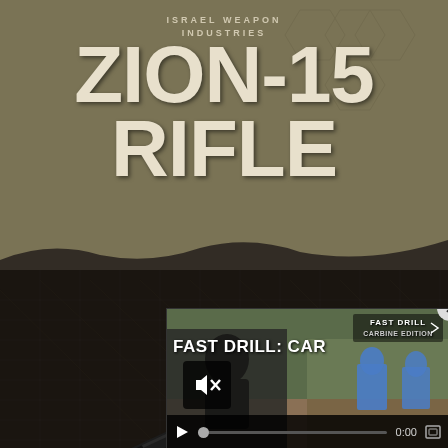[Figure (photo): Product cover image for IWI Zion-15 Rifle showing a black AR-style rifle on a dark textured surface with olive/tan upper background portion]
ISRAEL WEAPON
INDUSTRIES
ZION-15
RIFLE
[Figure (screenshot): Video player overlay in bottom-right corner showing 'FAST DRILL: CAR' video with mute icon, play button, progress bar, 0:00 timestamp, and fullscreen icon. Background shows outdoor shooting range scene with blue target silhouettes.]